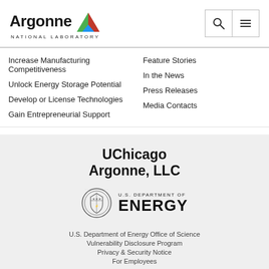[Figure (logo): Argonne National Laboratory logo with triangle icon in red, green, and blue]
Increase Manufacturing Competitiveness
Unlock Energy Storage Potential
Develop or License Technologies
Gain Entrepreneurial Support
Feature Stories
In the News
Press Releases
Media Contacts
[Figure (logo): UChicago Argonne, LLC logo in bold black text]
[Figure (logo): U.S. Department of Energy logo with seal and text]
U.S. Department of Energy Office of Science
Vulnerability Disclosure Program
Privacy & Security Notice
For Employees